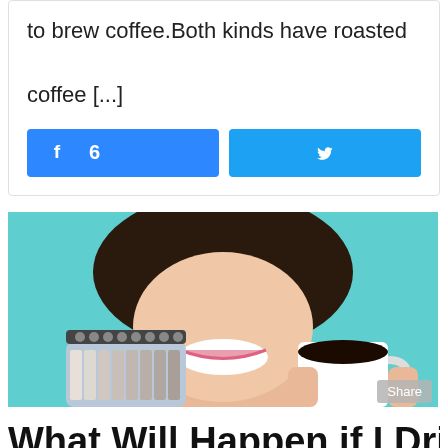to brew coffee.Both kinds have roasted coffee [...]
[Figure (other): Facebook share button with count 6 and Twitter share button]
[Figure (photo): A smiling woman holding a notebook/dental shade guide and a cup of black coffee, against a teal background]
What Will Happen if I Dri...